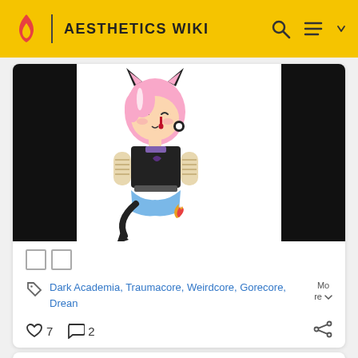AESTHETICS WIKI
[Figure (illustration): Chibi anime-style cat girl character with pink hair, black cat ears and tail, black outfit with crescent moon symbol, wearing bandages/casts on arms, blue skirt, with blood drip detail. Character is centered on white background with black side panels.]
□□
Dark Academia, Traumacore, Weirdcore, Gorecore, Drean  More ▾
♡ 7   ○ 2
Ewitzrobyn · 4/17/2022
in General